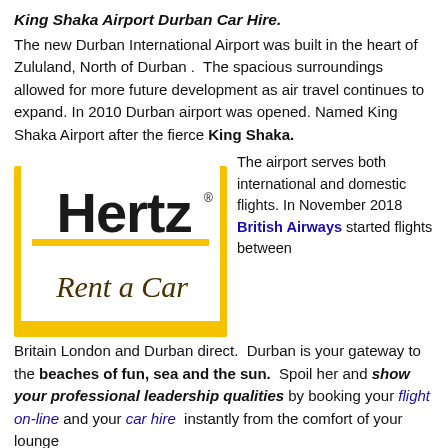King Shaka Airport Durban Car Hire.
The new Durban International Airport was built in the heart of Zululand, North of Durban .  The spacious surroundings allowed for more future development as air travel continues to expand. In 2010 Durban airport was opened. Named King Shaka Airport after the fierce King Shaka.
[Figure (logo): Hertz Rent a Car logo with yellow background frame]
The airport serves both international and domestic flights. In November 2018 British Airways started flights between Britain London and Durban direct.  Durban is your gateway to the beaches of fun, sea and the sun.  Spoil her and show your professional leadership qualities by booking your flight on-line and your car hire  instantly from the comfort of your lounge